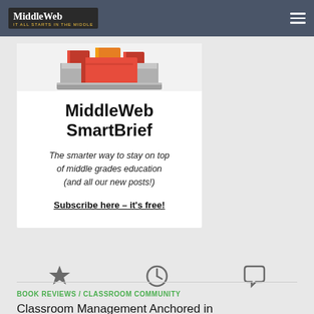MiddleWeb
[Figure (illustration): Illustrated stack of orange/red books on a grey surface at top of white card widget]
MiddleWeb SmartBrief
The smarter way to stay on top of middle grades education (and all our new posts!)
Subscribe here – it's free!
[Figure (other): Three icons in a row: star icon, clock icon, speech bubble icon]
BOOK REVIEWS / CLASSROOM COMMUNITY
Classroom Management Anchored in Community